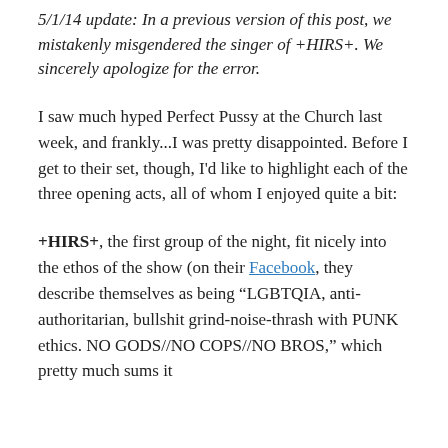5/1/14 update: In a previous version of this post, we mistakenly misgendered the singer of +HIRS+. We sincerely apologize for the error.
I saw much hyped Perfect Pussy at the Church last week, and frankly...I was pretty disappointed. Before I get to their set, though, I'd like to highlight each of the three opening acts, all of whom I enjoyed quite a bit:
+HIRS+, the first group of the night, fit nicely into the ethos of the show (on their Facebook, they describe themselves as being "LGBTQIA, anti-authoritarian, bullshit grind-noise-thrash with PUNK ethics. NO GODS//NO COPS//NO BROS," which pretty much sums it